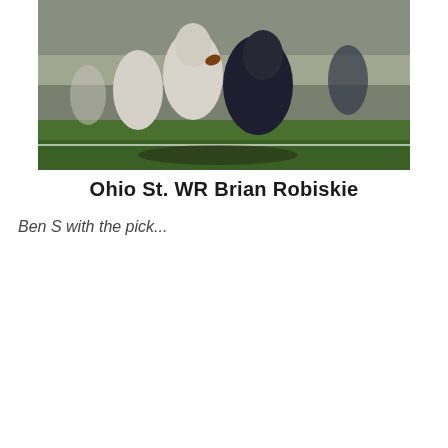[Figure (photo): Football action photo showing Ohio St. WR Brian Robiskie being tackled on a green field, players in white and dark navy uniforms]
Ohio St. WR Brian Robiskie
Ben S with the pick...